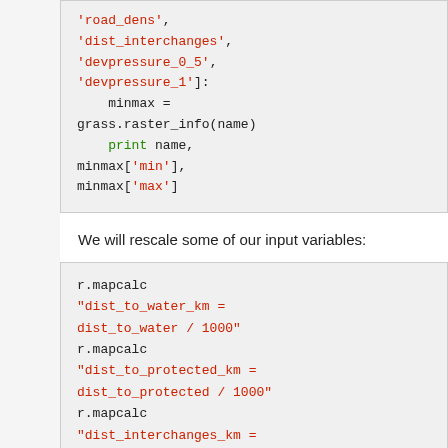[Figure (screenshot): Code block (top, partial) showing Python code with string list entries 'road_dens', 'dist_interchanges', 'devpressure_0_5', 'devpressure_1' and a for loop body with minmax assignment, print statement and minmax['min'], minmax['max']]
We will rescale some of our input variables:
[Figure (screenshot): Code block showing r.mapcalc commands: 'dist_to_water_km = dist_to_water / 1000', 'dist_to_protected_km = dist_to_protected / 1000', 'dist_interchanges_km = dist_interchanges / 1000', r.mapcalc "road_dens_perc (truncated)]